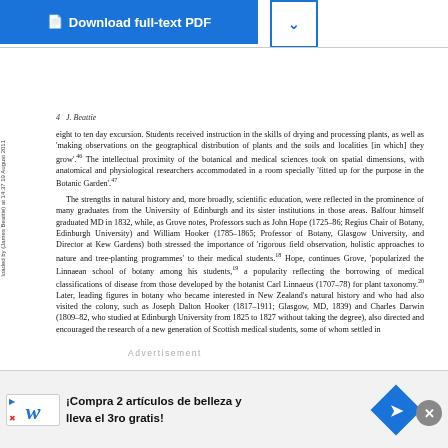4   J. Beattie
eight to ten day excursion. Students received instruction in the skills of drying and processing plants, as well as 'making observations on the geographical distribution of plants and the soils and localities [in which] they grow'.46  The intellectual proximity of the botanical and medical sciences took on spatial dimensions, with anatomical and physiological researchers accommodated in a room specially 'fitted up for the purpose in the Botanic Garden'.47
The strengths in natural history and, more broadly, scientific education, were reflected in the prominence of many graduates from the University of Edinburgh and its sister institutions in those areas. Balfour himself graduated MD in 1832, while, as Grove notes, Professors such as John Hope (1725–86; Regius Chair of Botany, Edinburgh University) and William Hooker (1785–1865; Professor of Botany, Glasgow University, and Director at Kew Gardens) both stressed the importance of 'rigorous field observation, holistic approaches to nature and tree-planting programmes' to their medical students.18 Hope, continues Grove, 'popularized the Linnaean school of botany among his students,19 a popularity reflecting the borrowing of medical classifications of disease from those developed by the botanist Carl Linnaeus (1707–78) for plant taxonomy.20 Later, leading figures in botany who became interested in New Zealand's natural history and who had also visited the colony, such as Joseph Dalton Hooker (1817–1911; Glasgow, MD, 1839) and Charles Darwin (1809–82, who studied at Edinburgh University from 1825 to 1827 without taking the degree), also directed and encouraged the research of a new generation of Scottish medical students, some of whom settled in